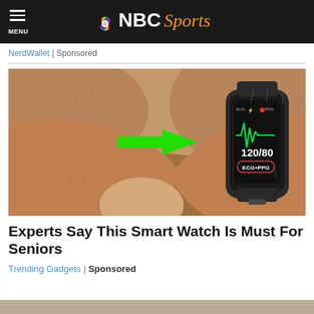NBC Sports
NerdWallet | Sponsored
[Figure (photo): Close-up of hands holding a smartwatch/fitness tracker showing ECG+PPG reading of 120/80, with a green arrow pointing to the watch on a wrist.]
Experts Say This Smart Watch Is Must For Seniors
Trending Gadgets | Sponsored